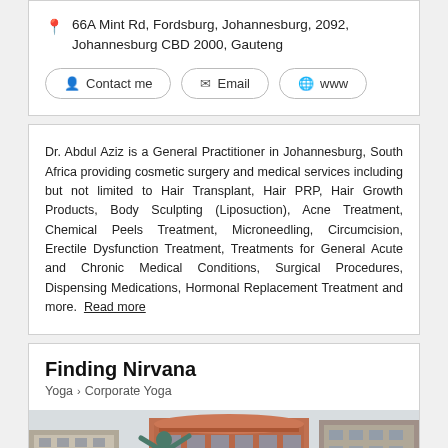66A Mint Rd, Fordsburg, Johannesburg, 2092, Johannesburg CBD 2000, Gauteng
Contact me  Email  www
Dr. Abdul Aziz is a General Practitioner in Johannesburg, South Africa providing cosmetic surgery and medical services including but not limited to Hair Transplant, Hair PRP, Hair Growth Products, Body Sculpting (Liposuction), Acne Treatment, Chemical Peels Treatment, Microneedling, Circumcision, Erectile Dysfunction Treatment, Treatments for General Acute and Chronic Medical Conditions, Surgical Procedures, Dispensing Medications, Hormonal Replacement Treatment and more. Read more
Finding Nirvana
Yoga > Corporate Yoga
[Figure (photo): Rooftop yoga scene with a person in yoga pose wearing floral leggings, city buildings visible in background]